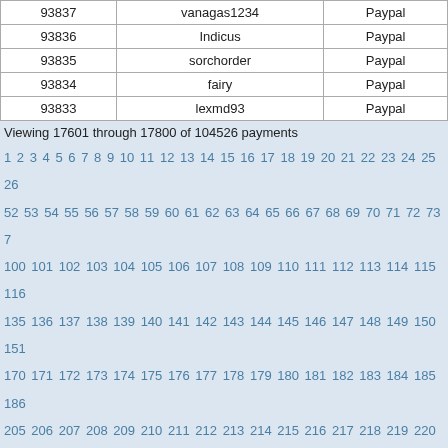| ID | Username | Payment Method |
| --- | --- | --- |
| 93837 | vanagas1234 | Paypal |
| 93836 | Indicus | Paypal |
| 93835 | sorchorder | Paypal |
| 93834 | fairy | Paypal |
| 93833 | lexmd93 | Paypal |
Viewing 17601 through 17800 of 104526 payments
1 2 3 4 5 6 7 8 9 10 11 12 13 14 15 16 17 18 19 20 21 22 23 24 25 26 ... 52 53 54 55 56 57 58 59 60 61 62 63 64 65 66 67 68 69 70 71 72 73 7... 100 101 102 103 104 105 106 107 108 109 110 111 112 113 114 115 116 ... 135 136 137 138 139 140 141 142 143 144 145 146 147 148 149 150 151 ... 170 171 172 173 174 175 176 177 178 179 180 181 182 183 184 185 186 ... 205 206 207 208 209 210 211 212 213 214 215 216 217 218 219 220 221 ... 240 241 242 243 244 245 246 247 248 249 250 251 252 253 254 255 256 ... 275 276 277 278 279 280 281 282 283 284 285 286 287 288 289 290 291 ... 310 311 312 313 314 315 316 317 318 319 320 321 322 323 324 325 326 ... 345 346 347 348 349 350 351 352 353 354 355 356 357 358 359 360 361